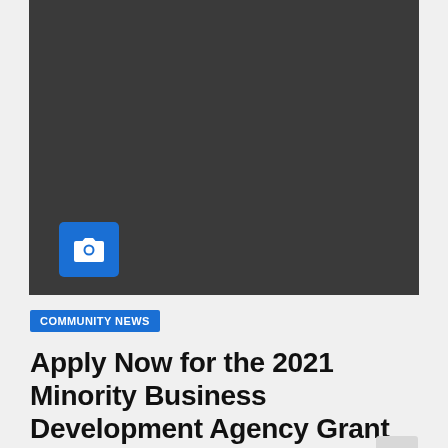[Figure (photo): Dark gray/black image placeholder with a camera icon in the lower left corner on a blue square background]
COMMUNITY NEWS
Apply Now for the 2021 Minority Business Development Agency Grant Competition